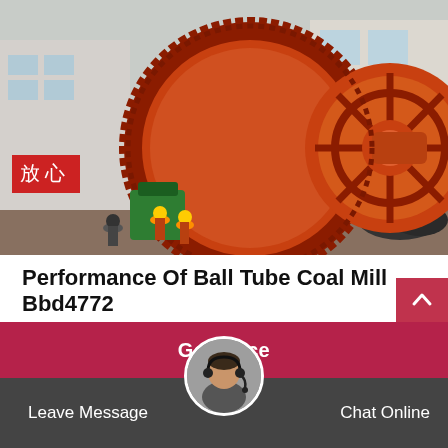[Figure (photo): Large orange industrial ball tube coal mill machine on a factory yard, workers in orange uniforms and hard hats working around it, industrial buildings in background. Chinese characters visible on left wall.]
Performance Of Ball Tube Coal Mill Bbd4772
Explosion in bbd4772 ball mills for gold. explosion in bbd ball mills for coalcoal crusher tube ball millcoal mill ball and tube type bbdcrusher and mill pulverizer wikipedia, the free encyclopedia…
Get Price
Leave Message
Chat Online